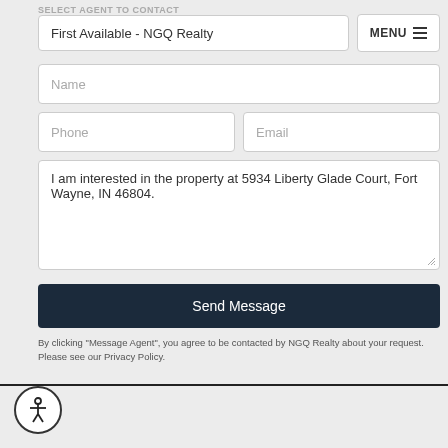SELECT AGENT TO CONTACT
First Available - NGQ Realty
MENU
Name
Phone
Email
I am interested in the property at 5934 Liberty Glade Court, Fort Wayne, IN 46804.
Send Message
By clicking "Message Agent", you agree to be contacted by NGQ Realty about your request. Please see our Privacy Policy.